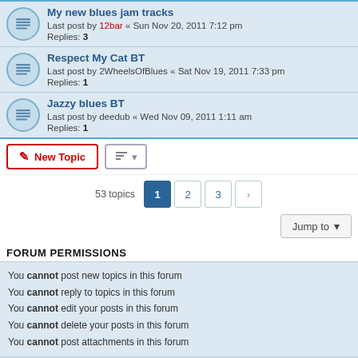My new blues jam tracks — Last post by 12bar « Sun Nov 20, 2011 7:12 pm — Replies: 3
Respect My Cat BT — Last post by 2WheelsOfBlues « Sat Nov 19, 2011 7:33 pm — Replies: 1
Jazzy blues BT — Last post by deedub « Wed Nov 09, 2011 1:11 am — Replies: 1
New Topic | Sort button
53 topics  1  2  3  >
Jump to
FORUM PERMISSIONS
You cannot post new topics in this forum
You cannot reply to topics in this forum
You cannot edit your posts in this forum
You cannot delete your posts in this forum
You cannot post attachments in this forum
Board index | Delete cookies | All times are UTC+01:00 | Powered by phpBB® Forum Software © phpBB Limited | Privacy | Terms